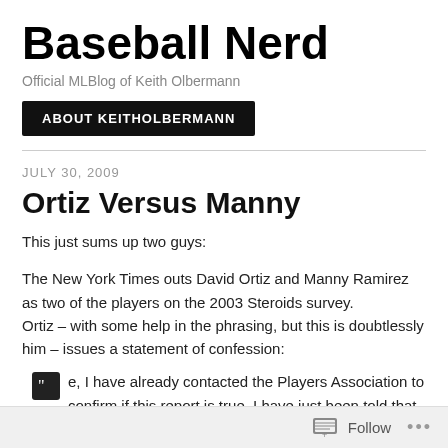Baseball Nerd
Official MLBlog of Keith Olbermann
ABOUT KEITHOLBERMANN
JULY 30, 2009
Ortiz Versus Manny
This just sums up two guys:
The New York Times outs David Ortiz and Manny Ramirez as two of the players on the 2003 Steroids survey.
Ortiz – with some help in the phrasing, but this is doubtlessly him – issues a statement of confession:
e, I have already contacted the Players Association to confirm if this report is true. I have just been told that the report is true. Based on the
Follow ...